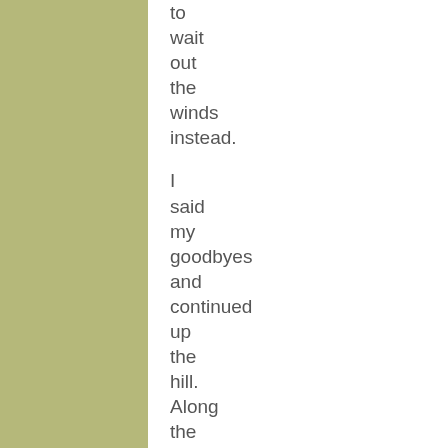to wait out the winds instead.

I said my goodbyes and continued up the hill. Along the way, I passed a